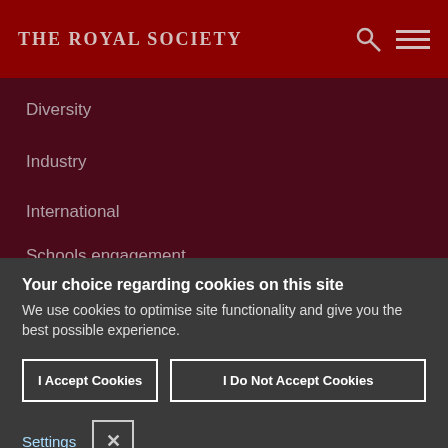THE ROYAL SOCIETY
Diversity
Industry
International
Schools engagement
Your choice regarding cookies on this site
We use cookies to optimise site functionality and give you the best possible experience.
I Accept Cookies
I Do Not Accept Cookies
Settings